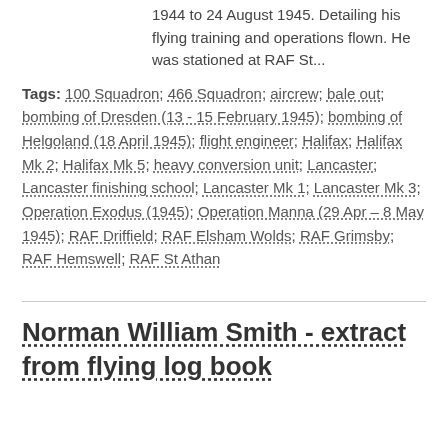1944 to 24 August 1945. Detailing his flying training and operations flown. He was stationed at RAF St...
Tags: 100 Squadron; 466 Squadron; aircrew; bale out; bombing of Dresden (13 - 15 February 1945); bombing of Helgoland (18 April 1945); flight engineer; Halifax; Halifax Mk 2; Halifax Mk 5; heavy conversion unit; Lancaster; Lancaster finishing school; Lancaster Mk 1; Lancaster Mk 3; Operation Exodus (1945); Operation Manna (29 Apr – 8 May 1945); RAF Driffield; RAF Elsham Wolds; RAF Grimsby; RAF Hemswell; RAF St Athan
Norman William Smith - extract from flying log book